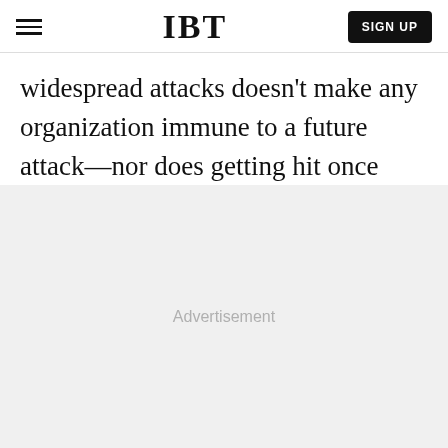IBT
widespread attacks doesn’t make any organization immune to a future attack—nor does getting hit once mean it won’t happen again.
[Figure (other): Advertisement placeholder area with gray background]